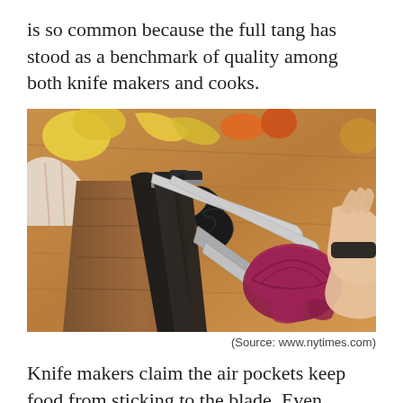is so common because the full tang has stood as a benchmark of quality among both knife makers and cooks.
[Figure (photo): A wooden knife block holding multiple kitchen knives with black handles and kitchen scissors, placed on a wooden cutting board. In the background, a person's hands are slicing a red onion, with various fruits and vegetables visible.]
(Source: www.nytimes.com)
Knife makers claim the air pockets keep food from sticking to the blade. Even though our top pick has